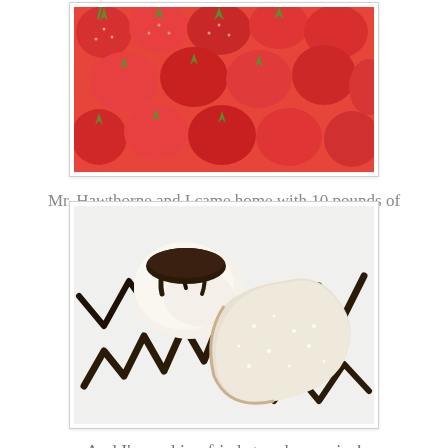[Figure (photo): Close-up photo of many fresh red strawberries piled together, showing green tops and red flesh]
Mr. Hawthorne and I came home with 10 pounds of strawberries.
[Figure (photo): A fried pie dusted with powdered sugar on a white plate, served with a scoop of ice cream drizzled with chocolate sauce in a decorative zigzag pattern]
And I'm making fried strawberry pies!